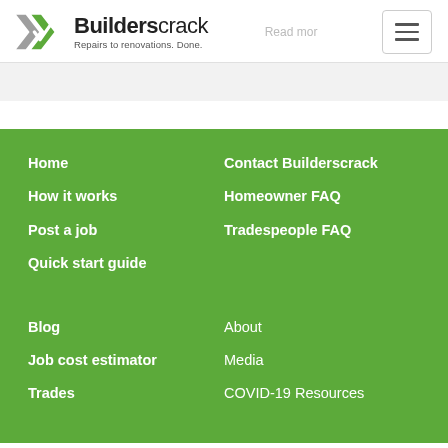[Figure (logo): Builderscrack logo with green checkmark icon and tagline 'Repairs to renovations. Done.']
Home
How it works
Post a job
Quick start guide
Contact Builderscrack
Homeowner FAQ
Tradespeople FAQ
Blog
Job cost estimator
Trades
About
Media
COVID-19 Resources